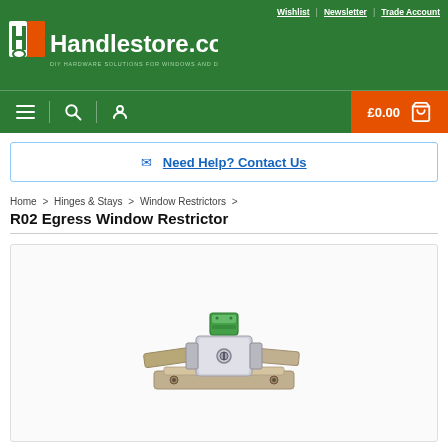[Figure (logo): Handlestore.com logo with green and orange icon and tagline: DIY HARDWARE SOLUTIONS FOR WINDOWS AND DOORS]
Wishlist | Newsletter | Trade Account
[Figure (screenshot): Navigation bar with hamburger menu, search icon, user icon, and cart showing £0.00]
✉ Need Help? Contact Us
Home > Hinges & Stays > Window Restrictors >
R02 Egress Window Restrictor
[Figure (photo): Product photo of R02 Egress Window Restrictor hardware with green button release mechanism on metal bracket]